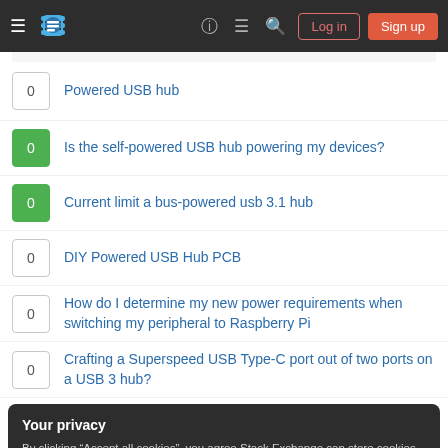Stack Exchange navigation bar with hamburger menu, logo, help, chat, search icons, Log in and Sign up buttons
0 — Powered USB hub
0 — Is the self-powered USB hub powering my devices?
0 — Current limit a bus-powered usb 3.1 hub
0 — DIY Powered USB Hub PCB
0 — How do I determine my new power requirements when switching my peripheral to Raspberry Pi
0 — Crafting a Superspeed USB Type-C port out of two ports on a USB 3 hub?
Your privacy
By clicking "Accept all cookies", you agree Stack Exchange can store cookies on your device and disclose information in accordance with our Cookie Policy.
Accept all cookies   Customize settings
What natural ocean resources can be used to make into clothing?